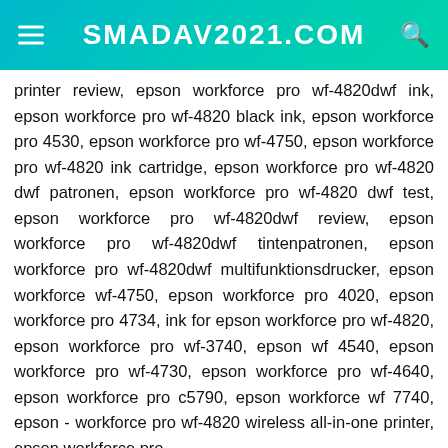SMADAV2021.COM
printer review, epson workforce pro wf-4820dwf ink, epson workforce pro wf-4820 black ink, epson workforce pro 4530, epson workforce pro wf-4750, epson workforce pro wf-4820 ink cartridge, epson workforce pro wf-4820 dwf patronen, epson workforce pro wf-4820 dwf test, epson workforce pro wf-4820dwf review, epson workforce pro wf-4820dwf tintenpatronen, epson workforce pro wf-4820dwf multifunktionsdrucker, epson workforce wf-4750, epson workforce pro 4020, epson workforce pro 4734, ink for epson workforce pro wf-4820, epson workforce pro wf-3740, epson wf 4540, epson workforce pro wf-4730, epson workforce pro wf-4640, epson workforce pro c5790, epson workforce wf 7740, epson - workforce pro wf-4820 wireless all-in-one printer, epson workforce pro